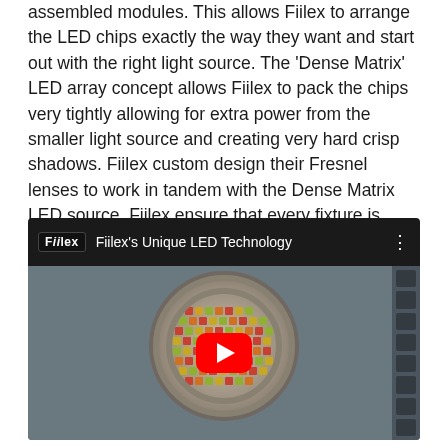assembled modules. This allows Fiilex to arrange the LED chips exactly the way they want and start out with the right light source. The 'Dense Matrix' LED array concept allows Fiilex to pack the chips very tightly allowing for extra power from the smaller light source and creating very hard crisp shadows. Fiilex custom design their Fresnel lenses to work in tandem with the Dense Matrix LED source. Fiilex ensure that every fixture is extremely colour-accurate using their exhaustive 192-colour point calibration process.
[Figure (screenshot): YouTube video embed showing Fiilex's Unique LED Technology. The thumbnail shows a close-up photo of a dense matrix LED array — colorful red, orange, yellow, and green LEDs arranged in a grid pattern, mounted in a circular metal holder. A YouTube play button (red with white triangle) is centered on the image. The top bar shows the Fiilex logo and the video title 'Fiilex's Unique LED Technology'.]